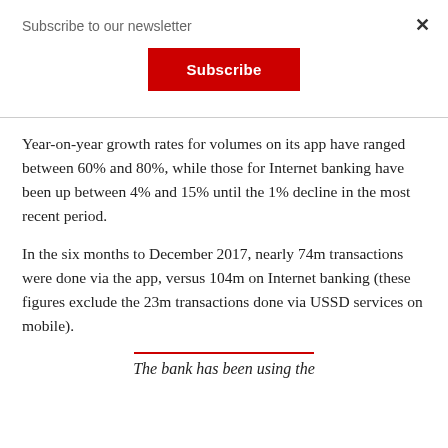Subscribe to our newsletter
[Figure (other): Red Subscribe button]
Year-on-year growth rates for volumes on its app have ranged between 60% and 80%, while those for Internet banking have been up between 4% and 15% until the 1% decline in the most recent period.
In the six months to December 2017, nearly 74m transactions were done via the app, versus 104m on Internet banking (these figures exclude the 23m transactions done via USSD services on mobile).
The bank has been using the